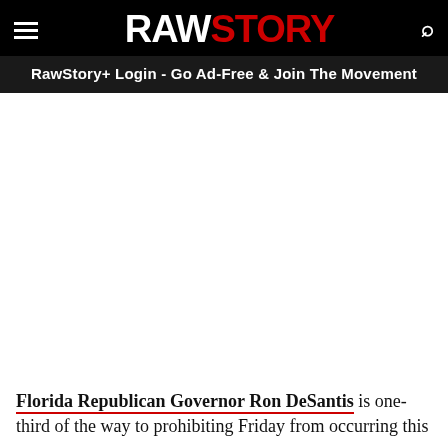RAW STORY — RawStory+ Login - Go Ad-Free & Join The Movement
Florida Republican Governor Ron DeSantis is one-third of the way to prohibiting Friday from occurring this...